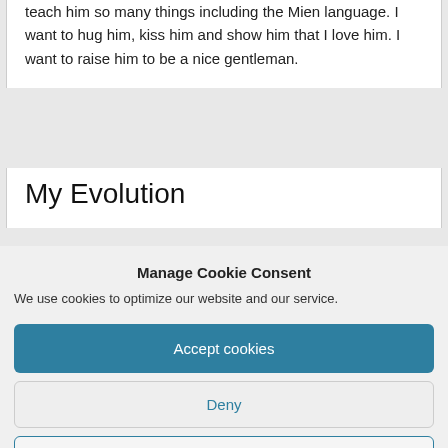teach him so many things including the Mien language. I want to hug him, kiss him and show him that I love him. I want to raise him to be a nice gentleman.
My Evolution
Manage Cookie Consent
We use cookies to optimize our website and our service.
Accept cookies
Deny
View preferences